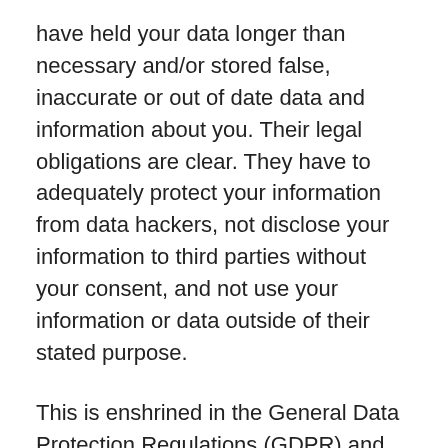have held your data longer than necessary and/or stored false, inaccurate or out of date data and information about you. Their legal obligations are clear. They have to adequately protect your information from data hackers, not disclose your information to third parties without your consent, and not use your information or data outside of their stated purpose.
This is enshrined in the General Data Protection Regulations (GDPR) and all businesses both private and public, are perfectly aware of their legal obligations.
You can report this breach to the Information Commissioner if you wish using their website ico.org.uk.
If you wish to make a claim for workplace data breach